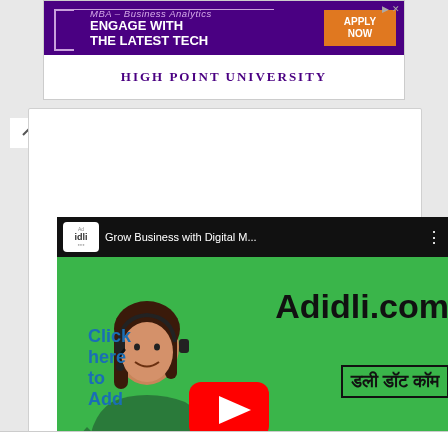[Figure (screenshot): High Point University MBA Business Analytics advertisement banner with purple background, 'ENGAGE WITH THE LATEST TECH' text, Apply Now button, and university name]
[Figure (screenshot): YouTube video thumbnail for Adidli.com digital marketing video with woman in green headset, YouTube play button, Hindi and English text about business growth]
Click here to Add